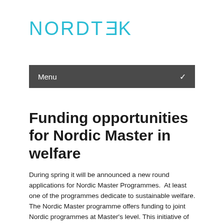NORDTEK
Menu
Funding opportunities for Nordic Master in welfare
During spring it will be announced a new round applications for Nordic Master Programmes.  At least one of the programmes dedicate to sustainable welfare. The Nordic Master programme offers funding to joint Nordic programmes at Master's level. This initiative of the Nordic Council of Ministers supports both the Master's programmes themselves and their students'